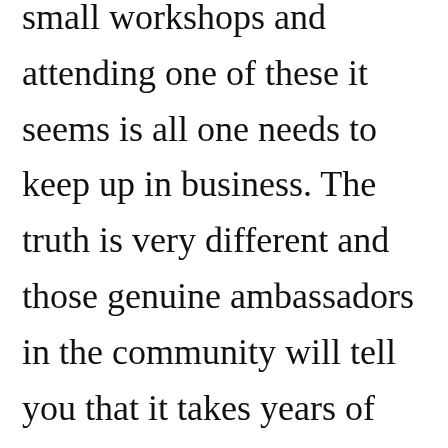small workshops and attending one of these it seems is all one needs to keep up in business. The truth is very different and those genuine ambassadors in the community will tell you that it takes years of development and discernment as well as sacrifice and that a great deal of responsibility is needed. Be aware of one's history and development. Even training in a workshop with a famous